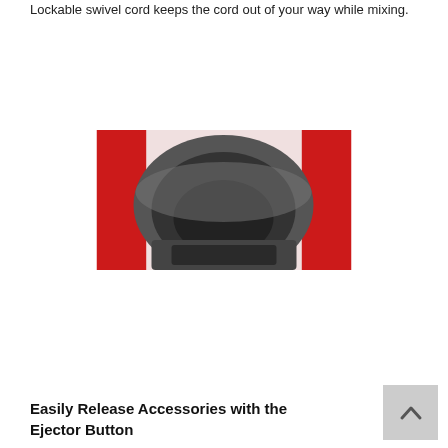Lockable swivel cord keeps the cord out of your way while mixing.
[Figure (photo): Close-up top-down view of a red and white hand mixer showing the dark metallic beater ejector opening in the center.]
Easily Release Accessories with the Ejector Button